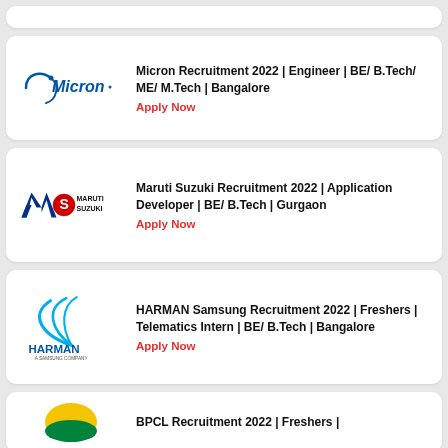[Figure (logo): Partial top card (cut off at top)]
Micron Recruitment 2022 | Engineer | BE/ B.Tech/ ME/ M.Tech | Bangalore
Apply Now
[Figure (logo): Micron company logo]
Maruti Suzuki Recruitment 2022 | Application Developer | BE/ B.Tech | Gurgaon
Apply Now
[Figure (logo): Maruti Suzuki company logo]
HARMAN Samsung Recruitment 2022 | Freshers | Telematics Intern | BE/ B.Tech | Bangalore
Apply Now
[Figure (logo): HARMAN A Samsung Company logo]
BPCL Recruitment 2022 | Freshers |
[Figure (logo): BPCL logo (partially visible)]